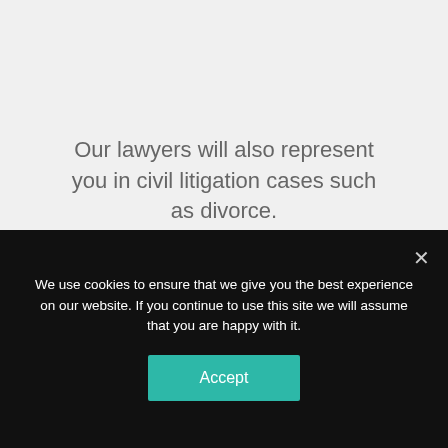Our lawyers will also represent you in civil litigation cases such as divorce.
CONTACT US NOW ›
[Figure (logo): AQ law firm logo in italic gold lettering on dark background with horizontal white rule]
We use cookies to ensure that we give you the best experience on our website. If you continue to use this site we will assume that you are happy with it.
Accept